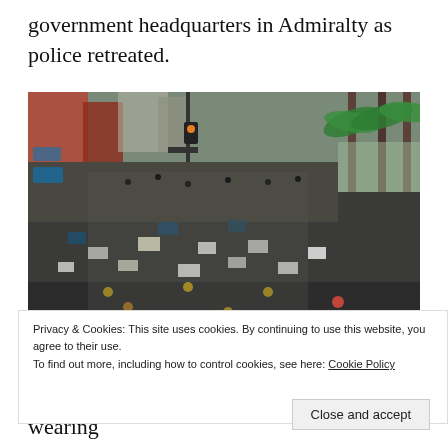government headquarters in Admiralty as police retreated.
[Figure (photo): Aerial view of a massive crowd of protesters filling a wide urban street in Hong Kong, with palm trees on the right side and city buildings in the background. Many protesters are wearing dark clothing and holding signs.]
Privacy & Cookies: This site uses cookies. By continuing to use this website, you agree to their use.
To find out more, including how to control cookies, see here: Cookie Policy
Close and accept
Some activists – mostly young people wearing